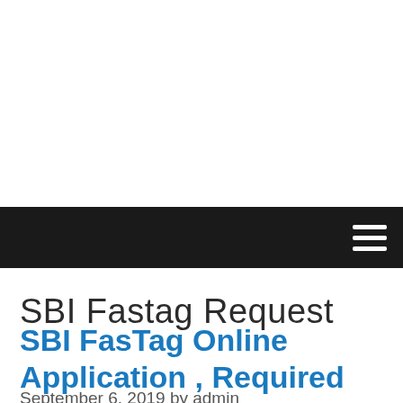SBI Fastag Request
SBI FasTag Online Application , Required Documents , Online Recharge Offers
September 6, 2019 by admin